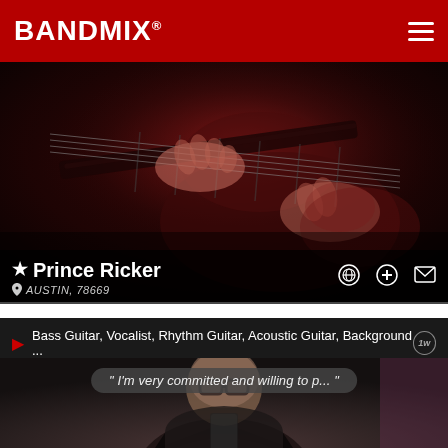BANDMIX®
[Figure (photo): Close-up photo of hands playing a bass guitar, dark reddish tones]
★Prince Ricker
📍 AUSTIN, 78669
▶ Bass Guitar, Vocalist, Rhythm Guitar, Acoustic Guitar, Background ...
[Figure (photo): Selfie mirror photo of a young man wearing glasses and a black leather jacket, holding a phone]
" I'm very committed and willing to p... "